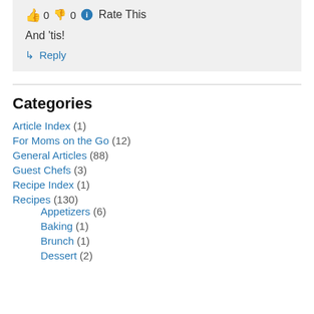👍 0 👎 0 ℹ Rate This
And 'tis!
↳ Reply
Categories
Article Index (1)
For Moms on the Go (12)
General Articles (88)
Guest Chefs (3)
Recipe Index (1)
Recipes (130)
Appetizers (6)
Baking (1)
Brunch (1)
Dessert (2)